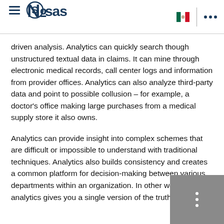SAS logo header with Mexico flag and navigation
driven analysis. Analytics can quickly search though unstructured textual data in claims. It can mine through electronic medical records, call center logs and information from provider offices. Analytics can also analyze third-party data and point to possible collusion – for example, a doctor's office making large purchases from a medical supply store it also owns.
Analytics can provide insight into complex schemes that are difficult or impossible to understand with traditional techniques. Analytics also builds consistency and creates a common platform for decision-making between various departments within an organization. In other words, analytics gives you a single version of the truth.